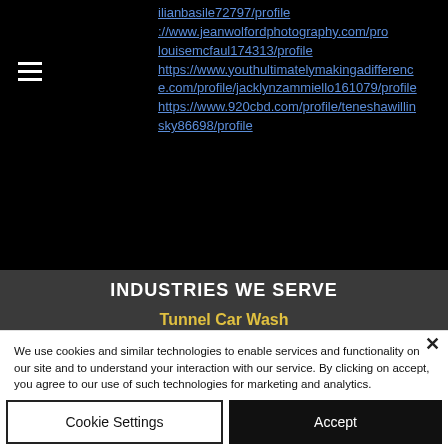ilianbasile72797/profile
https://www.jeanwolfordphotography.com/pro
louisemcfaul174313/profile
https://www.youthultimatelymakingadifference.com/profile/jacklynzammiello161079/profile
https://www.920cbd.com/profile/teneshawillinsky86698/profile
INDUSTRIES WE SERVE
Tunnel Car Wash
Fleet, Freight, & Trucking
Auto, Marine, & Rv Dealers
Detail Centers
We use cookies and similar technologies to enable services and functionality on our site and to understand your interaction with our service. By clicking on accept, you agree to our use of such technologies for marketing and analytics.
Cookie Settings
Accept